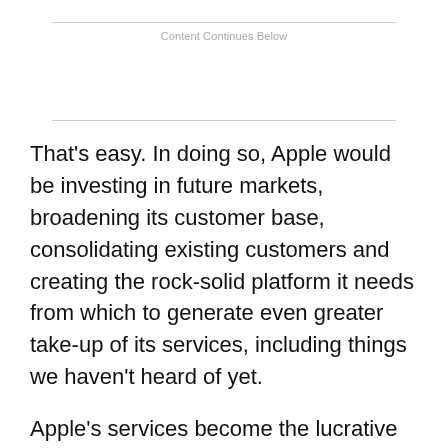Content Continues Below
That’s easy. In doing so, Apple would be investing in future markets, broadening its customer base, consolidating existing customers and creating the rock-solid platform it needs from which to generate even greater take-up of its services, including things we haven’t heard of yet.
Apple’s services become the lucrative razor blades designed for the (highly profitable) iPhone and the essential, addictive, and affordable Apple Watch.